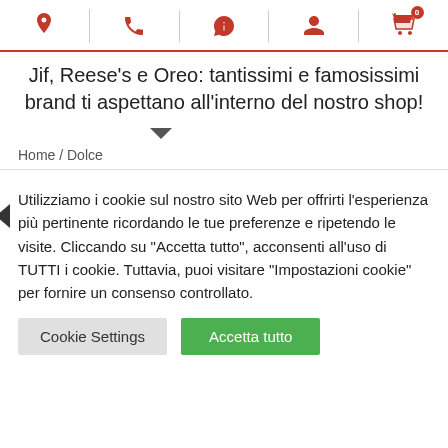Nav icons: location, phone, whatsapp, user, cart (0)
Jif, Reese's e Oreo: tantissimi e famosissimi brand ti aspettano all'interno del nostro shop!
Home / Dolce
Utilizziamo i cookie sul nostro sito Web per offrirti l'esperienza più pertinente ricordando le tue preferenze e ripetendo le visite. Cliccando su "Accetta tutto", acconsenti all'uso di TUTTI i cookie. Tuttavia, puoi visitare "Impostazioni cookie" per fornire un consenso controllato.
Cookie Settings | Accetta tutto